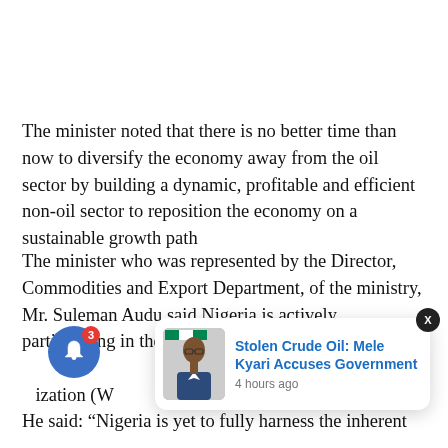The minister noted that there is no better time than now to diversify the economy away from the oil sector by building a dynamic, profitable and efficient non-oil sector to reposition the economy on a sustainable growth path
The minister who was represented by the Director, Commodities and Export Department, of the ministry, Mr. Suleman Audu said Nigeria is actively participating in the on-going negotiations at the World Trade Organization (W...
He said: “Nigeria is yet to fully harness the inherent
[Figure (other): Notification bell icon with badge showing number 3, and a popup card with a photo of a man in a suit and text 'Stolen Crude Oil: Mele Kyari Accuses Government' with timestamp '4 hours ago']